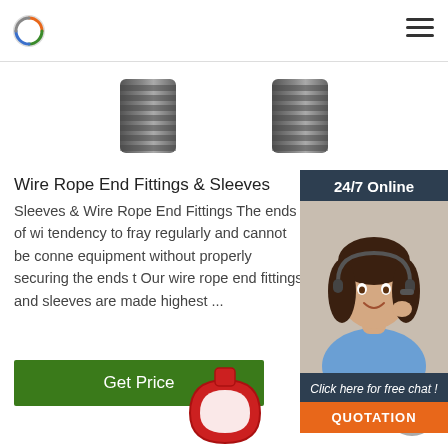Wire Rope End Fittings & Sleeves - website header with logo and navigation
[Figure (photo): Two dark metal threaded barrel/sleeve fittings shown side by side against white background]
Wire Rope End Fittings & Sleeves
Sleeves & Wire Rope End Fittings The ends of wi tendency to fray regularly and cannot be conne equipment without properly securing the ends t Our wire rope end fittings and sleeves are made highest ...
[Figure (photo): Customer service representative with headset, smiling - for 24/7 online chat banner]
24/7 Online
Click here for free chat !
QUOTATION
[Figure (photo): Red metal shackle / lifting ring fitting shown at bottom of page]